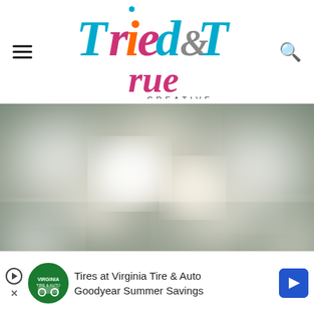Tried & True Creative
[Figure (photo): Blurred bokeh background photo of soft white and cream circular light orbs on a muted grayish-green background, with watermark text 'triedandtrueblog.com' in lower right corner]
[Figure (infographic): Advertisement banner for Virginia Tire & Auto / Goodyear Summer Savings, featuring play button, close button, green circular logo with auto icon, ad text 'Tires at Virginia Tire & Auto / Goodyear Summer Savings', and a blue diamond-shaped arrow icon]